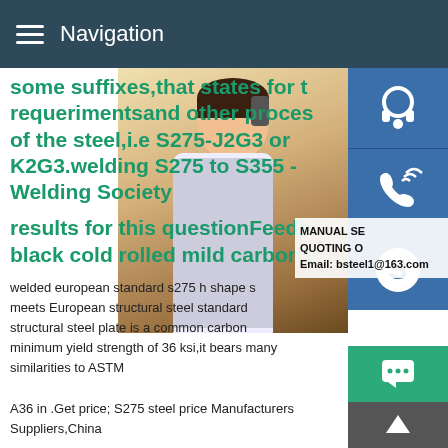Navigation
some suffixes,that states for the requerimentsand other process of the steel,i.e S275-J2G3 or K2G3.welding S275 to S355 - Welding Society
results for this questionFeedback black cold rolled mild carbon c
[Figure (photo): Customer service woman wearing headset, with contact icons on right side: support headset, phone, Skype, and chat/up buttons]
welded european standard s275 h shape s meets European structural steel standard structural steel plate is a common carbon minimum yield strength of 36 ksi,it bears many similarities to ASTM A36 in .Get price; S275 steel price Manufacturers Suppliers,China s275
welding S275 to S355 - American Welding Society